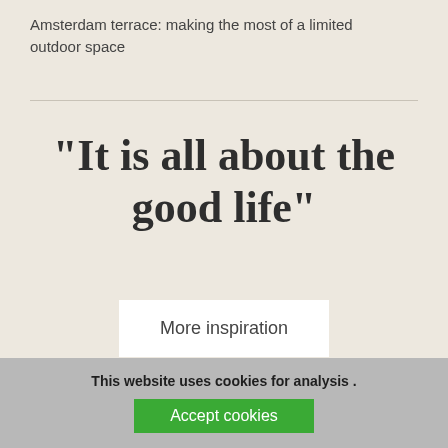Amsterdam terrace: making the most of a limited outdoor space
"It is all about the good life"
More inspiration
This website uses cookies for analysis . Accept cookies